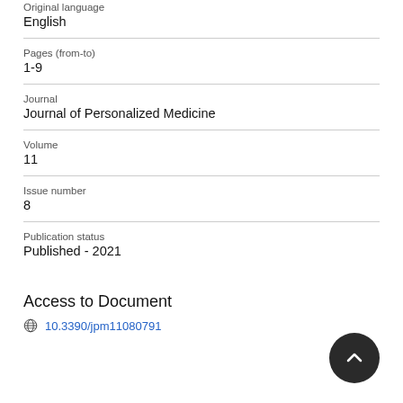Original language
English
Pages (from-to)
1-9
Journal
Journal of Personalized Medicine
Volume
11
Issue number
8
Publication status
Published - 2021
Access to Document
10.3390/jpm11080791